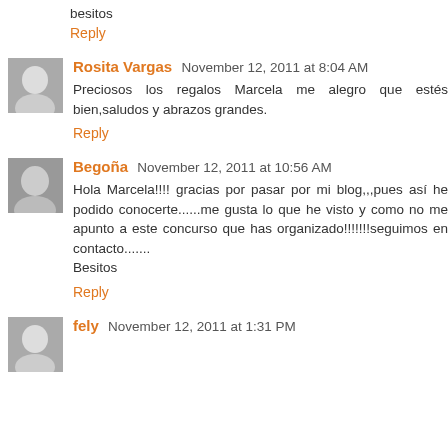besitos
Reply
Rosita Vargas  November 12, 2011 at 8:04 AM
Preciosos los regalos Marcela me alegro que estés bien,saludos y abrazos grandes.
Reply
Begoña  November 12, 2011 at 10:56 AM
Hola Marcela!!!! gracias por pasar por mi blog,,,pues así he podido conocerte......me gusta lo que he visto y como no me apunto a este concurso que has organizado!!!!!!!seguimos en contacto.......
Besitos
Reply
fely  November 12, 2011 at 1:31 PM